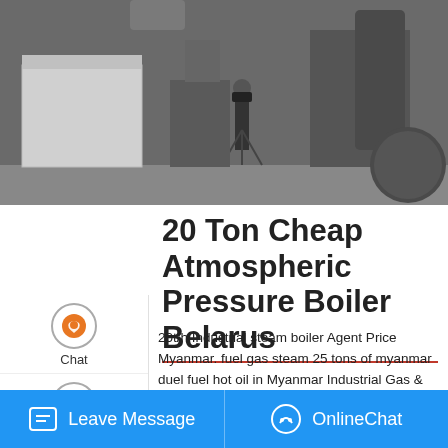[Figure (photo): Industrial boiler room with a person standing with a tripod/camera, large industrial equipment and machines visible]
20 Ton Cheap Atmospheric Pressure Boiler Belarus
20t/h Industrial steam boiler Agent Price Myanmar. fuel gas steam 25 tons of myanmar duel fuel hot oil in Myanmar Industrial Gas & Best Gas Oil Dual Fuel Steam Project Case In 4T/h Oil & Gas Dual Fuel Fired Steam in Myanmar In April 2017 the local agent of EPCB in Myanmar contacted us and told us that there plant in Yangon and they needed a
Leave Message   OnlineChat